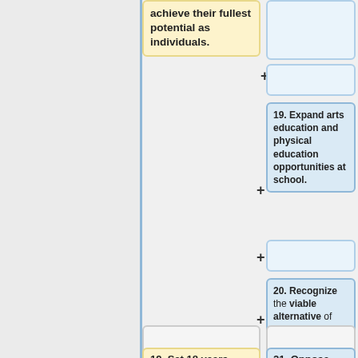achieve their fullest potential as individuals.
19. Expand arts education and physical education opportunities at school.
20. Recognize the viable alternative of home-based education.
19. Set 18 years
21. Oppose